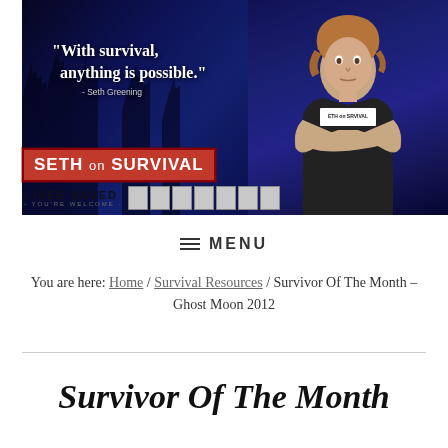[Figure (photo): Banner image: dark blue background with tree silhouettes, young man with crossed arms wearing 'Seth on Survival' shirt, white quote text reading 'With survival, anything is possible.' attributed to Seth Greening, Seth on Survival logo with red background, Lives Saved counter bar]
≡ MENU
You are here: Home / Survival Resources / Survivor Of The Month – Ghost Moon 2012
Survivor Of The Month